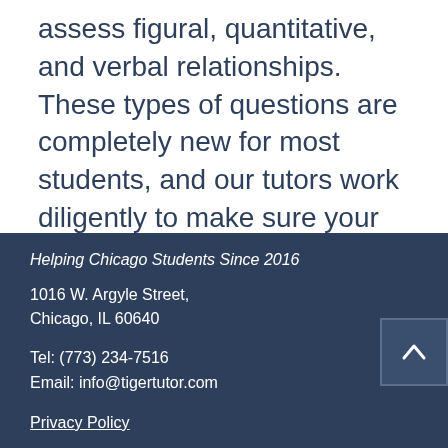assess figural, quantitative, and verbal relationships. These types of questions are completely new for most students, and our tutors work diligently to make sure your child is developing those skills and is ready for test day.
Learn more about our pricing here.
Helping Chicago Students Since 2016
1016 W. Argyle Street, Chicago, IL 60640
Tel: (773) 234-7516
Email: info@tigertutor.com
Privacy Policy